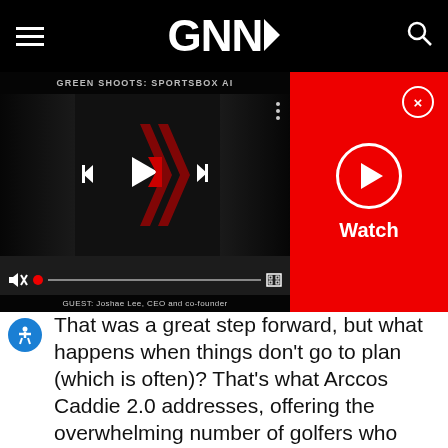GNN
[Figure (screenshot): Video player showing 'Green Shoots: Sportsbox AI' with playback controls, progress bar, mute button, fullscreen button, and a red side panel with Watch button and close X. Guest caption reads: GUEST: Joshae Lee, CEO and co-founder]
That was a great step forward, but what happens when things don't go to plan (which is often)? That's what Arccos Caddie 2.0 addresses, offering the overwhelming number of golfers who don't have access to a caddie the opportunity to use data-driven insights to help them shoot better scores. The advice comes from not only an analysis of a particular